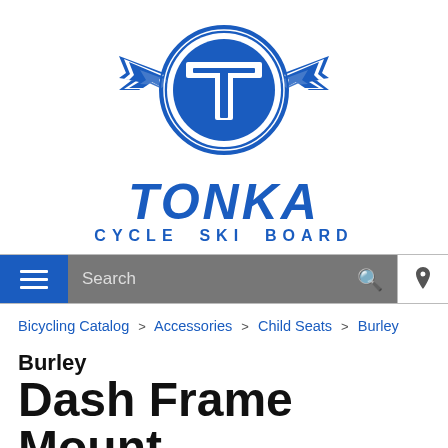[Figure (logo): Tonka Cycle Ski Board logo with winged T emblem and brand name]
Search
Bicycling Catalog > Accessories > Child Seats > Burley
Burley
Dash Frame Mount